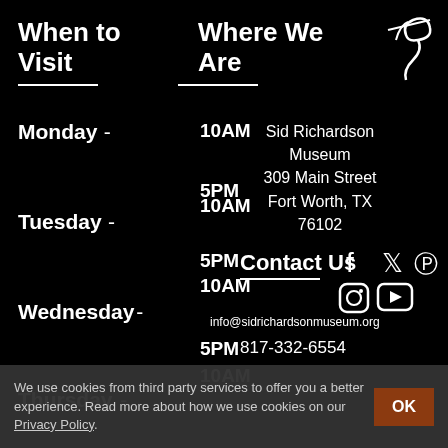When to Visit
Where We Are
[Figure (logo): Stylized signature/logo in white on black background]
Monday 10AM - 5PM
Sid Richardson Museum
309 Main Street
Fort Worth, TX 76102
Tuesday 10AM - 5PM
Contact Us
Wednesday 10AM - 5PM
info@sidrichardsonmuseum.org
817-332-6554
Thursday 10AM -
We use cookies from third party services to offer you a better experience. Read more about how we use cookies on our Privacy Policy.